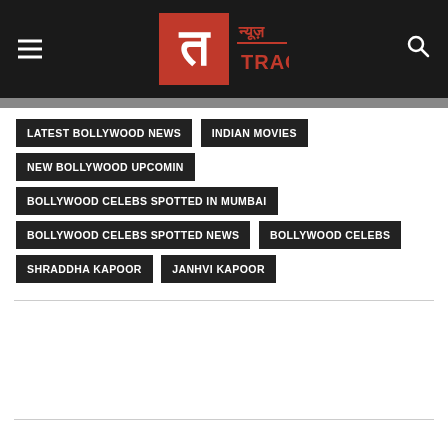News Track - न्यूज़ Track
LATEST BOLLYWOOD NEWS
INDIAN MOVIES
NEW BOLLYWOOD UPCOMIN
BOLLYWOOD CELEBS SPOTTED IN MUMBAI
BOLLYWOOD CELEBS SPOTTED NEWS
BOLLYWOOD CELEBS
SHRADDHA KAPOOR
JANHVI KAPOOR
Taboola Feed